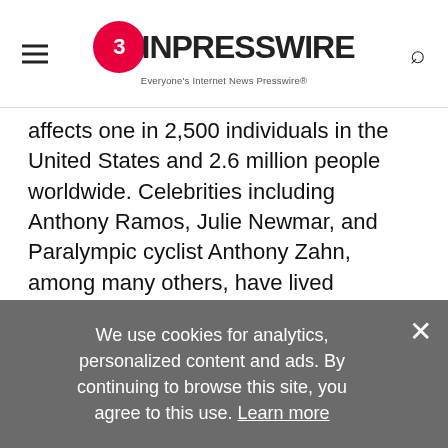EIN PRESSWIRE — Everyone's Internet News Presswire
affects one in 2,500 individuals in the United States and 2.6 million people worldwide. Celebrities including Anthony Ramos, Julie Newmar, and Paralympic cyclist Anthony Zahn, among many others, have lived extraordinary lives while afflicted with CMT.
Shark Tooth Cycling founder and director Chris "Topher" Delamarter was diagnosed with this condition when he was around 10 years old and his
We use cookies for analytics, personalized content and ads. By continuing to browse this site, you agree to this use. Learn more